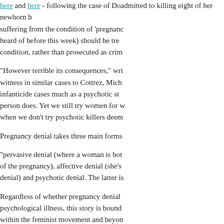here and here - following the case of Do... admitted to killing eight of her newborn b... suffering from the condition of 'pregnancy... heard of before this week) should be trea... condition, rather than prosecuted as crim...
"However terrible its consequences," wri... witness in similar cases to Cottrez, Miche... infanticide cases much as a psychotic sta... person does. Yet we still try women for w... when we don't try psychotic killers deem...
Pregnancy denial takes three main forms:
"pervasive denial (where a woman is bot... of the pregnancy), affective denial (she's... denial) and psychotic denial. The latter is...
Regardless of whether pregnancy denial... psychological illness, this story is bound... within the feminist movement and beyon...
Sarah Cheverton on July 31, 2010 in Health, Opini...
The clothes on our backs: C...